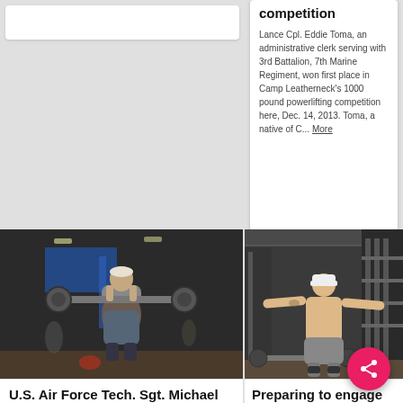[Figure (photo): White card placeholder at top left]
competition
Lance Cpl. Eddie Toma, an administrative clerk serving with 3rd Battalion, 7th Marine Regiment, won first place in Camp Leatherneck's 1000 pound powerlifting competition here, Dec. 14, 2013. Toma, a native of C... More
[Figure (photo): Person lifting weights in a gym/competition venue — U.S. Air Force Tech. Sgt. Michael Lloyd]
[Figure (photo): Shirtless man with arms outstretched in a gym — Preparing to engage, Airman 1st Class Benn, 22nd Security Forces]
U.S. Air Force Tech. Sgt. Michael Lloyd of the 165th
Preparing to engage
Airman 1st Class Benn 22nd Security Forces